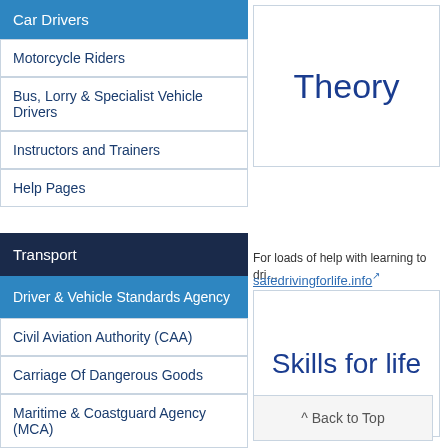Car Drivers
Motorcycle Riders
Bus, Lorry & Specialist Vehicle Drivers
Instructors and Trainers
Help Pages
Transport
Driver & Vehicle Standards Agency
Civil Aviation Authority (CAA)
Carriage Of Dangerous Goods
Maritime & Coastguard Agency (MCA)
Police Foundation
[Figure (other): Theory navigation box with large text]
[Figure (other): Skills for life navigation box with large text]
For loads of help with learning to drive, go to safedrivingforlife.info
^ Back to Top